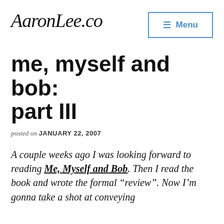AaronLee.co
me, myself and bob: part III
posted on JANUARY 22, 2007
A couple weeks ago I was looking forward to reading Me, Myself and Bob. Then I read the book and wrote the formal “review”. Now I’m gonna take a shot at conveying